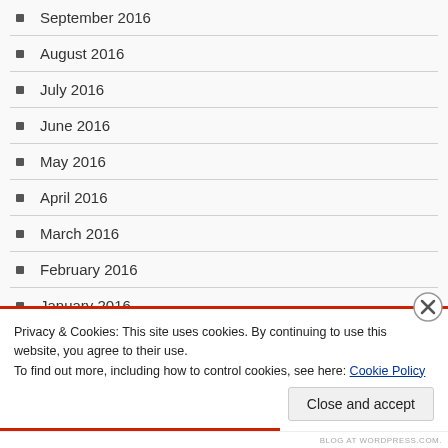September 2016
August 2016
July 2016
June 2016
May 2016
April 2016
March 2016
February 2016
January 2016
December 2015
November 2015
Privacy & Cookies: This site uses cookies. By continuing to use this website, you agree to their use. To find out more, including how to control cookies, see here: Cookie Policy
BLOG AT WORDPRESS.COM.